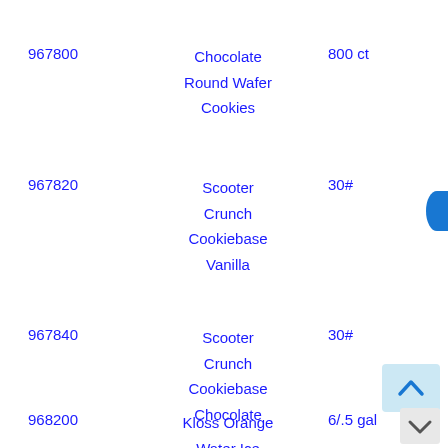967800   Chocolate Round Wafer Cookies   800 ct
967820   Scooter Crunch Cookiebase Vanilla   30#
967840   Scooter Crunch Cookiebase Chocolate   30#
968200   Kloss Orange Water Ice   6/.5 gal